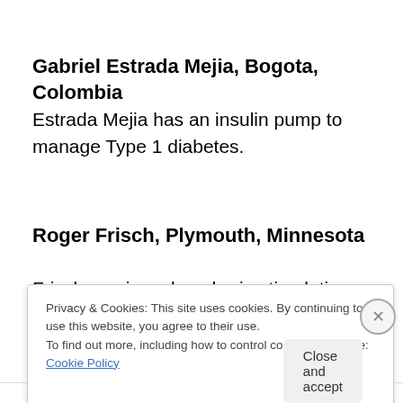Gabriel Estrada Mejia, Bogota, Colombia
Estrada Mejia has an insulin pump to manage Type 1 diabetes.
Roger Frisch, Plymouth, Minnesota
Frisch receives deep brain stimulation therapy to help
Privacy & Cookies: This site uses cookies. By continuing to use this website, you agree to their use.
To find out more, including how to control cookies, see here: Cookie Policy
Close and accept